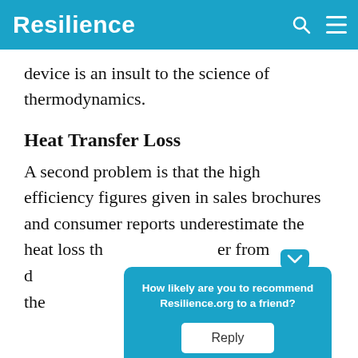Resilience
device is an insult to the science of thermodynamics.
Heat Transfer Loss
A second problem is that the high efficiency figures given in sales brochures and consumer reports underestimate the heat loss th[at occurs during power] [transf]er from d[istribution lines and is broken d]own by the[ graph shown above].
[Figure (screenshot): A popup widget from Resilience.org asking 'How likely are you to recommend Resilience.org to a friend?' with a Reply button, shown in a teal/blue rounded rectangle with a chevron pointing up.]